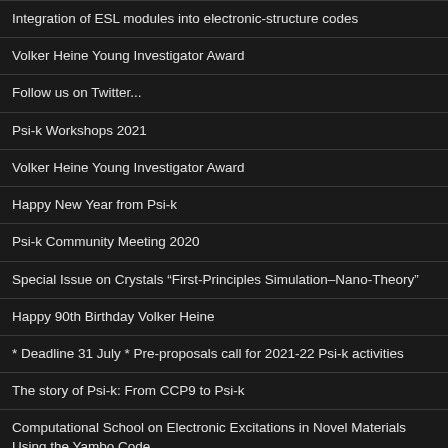Integration of ESL modules into electronic-structure codes
Volker Heine Young Investigator Award
Follow us on Twitter...
Psi-k Workshops 2021
Volker Heine Young Investigator Award
Happy New Year from Psi-k
Psi-k Community Meeting 2020
Special Issue on Crystals “First-Principles Simulation–Nano-Theory”
Happy 90th Birthday Volker Heine
* Deadline 31 July * Pre-proposals call for 2021-22 Psi-k activities
The story of Psi-k: From CCP9 to Psi-k
Computational School on Electronic Excitations in Novel Materials Using the Yambo Code